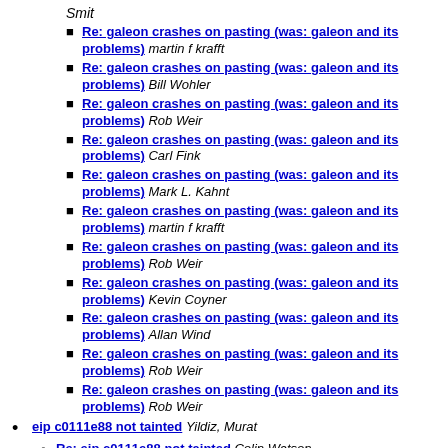Smit
Re: galeon crashes on pasting (was: galeon and its problems) martin f krafft
Re: galeon crashes on pasting (was: galeon and its problems) Bill Wohler
Re: galeon crashes on pasting (was: galeon and its problems) Rob Weir
Re: galeon crashes on pasting (was: galeon and its problems) Carl Fink
Re: galeon crashes on pasting (was: galeon and its problems) Mark L. Kahnt
Re: galeon crashes on pasting (was: galeon and its problems) martin f krafft
Re: galeon crashes on pasting (was: galeon and its problems) Rob Weir
Re: galeon crashes on pasting (was: galeon and its problems) Kevin Coyner
Re: galeon crashes on pasting (was: galeon and its problems) Allan Wind
Re: galeon crashes on pasting (was: galeon and its problems) Rob Weir
Re: galeon crashes on pasting (was: galeon and its problems) Rob Weir
eip c0111e88 not tainted Yildiz, Murat
Re: eip c0111e88 not tainted Colin Watson